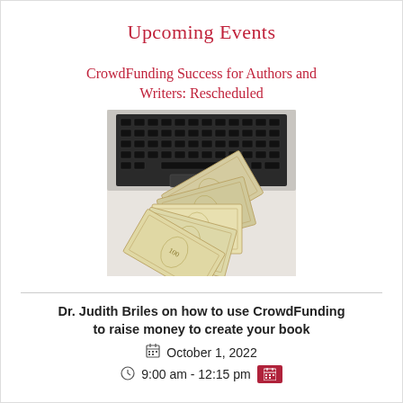Upcoming Events
CrowdFunding Success for Authors and Writers: Rescheduled
[Figure (photo): Photo of US dollar bills fanned out on a laptop keyboard, viewed from above on a white surface.]
Dr. Judith Briles on how to use CrowdFunding to raise money to create your book
October 1, 2022
9:00 am - 12:15 pm